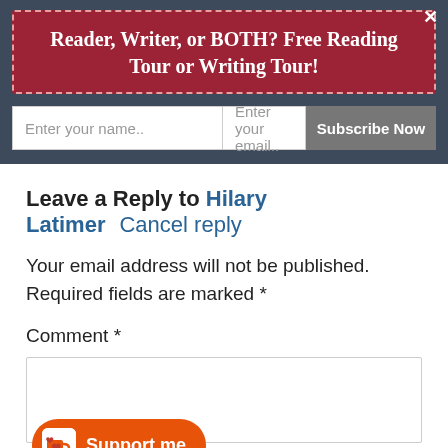Reader, Writer, or BOTH? Free Reading Tour or Writing Tour!
Enter your name..  Enter your email..  Subscribe Now
Leave a Reply to Hilary Latimer  Cancel reply
Your email address will not be published. Required fields are marked *
Comment *
[Figure (other): Comment text area input box]
[Figure (other): Support me button with Ko-fi cup icon]